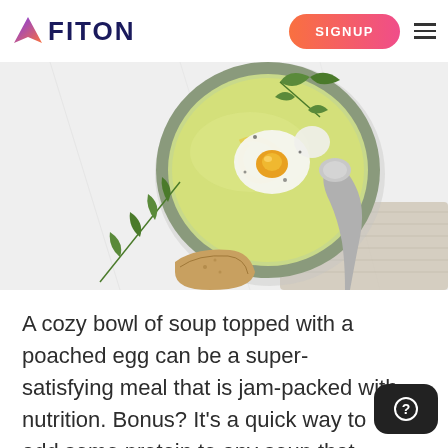FITON
[Figure (photo): Overhead shot of a bowl of creamy green soup topped with a poached egg, herbs (arugula/rocket), olive oil drizzle, black pepper, with a silver spoon, piece of bread, and linen napkin on a light marble surface.]
A cozy bowl of soup topped with a poached egg can be a super-satisfying meal that is jam-packed with nutrition. Bonus? It's a quick way to add some protein to any soup that may have been otherwise low in protein.